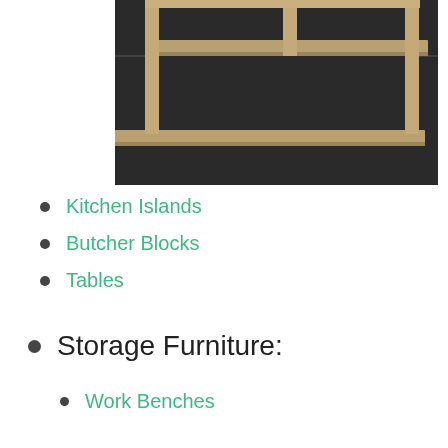[Figure (photo): A wooden stepped bookshelf/display unit with two tiers of shelves, photographed against a dark background. The shelving unit has a natural wood finish with open compartments.]
Kitchen Islands
Butcher Blocks
Tables
Storage Furniture:
Work Benches